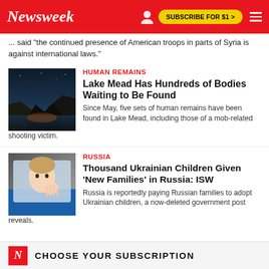Newsweek | SUBSCRIBE FOR $1 >
... said "the continued presence of American troops in parts of Syria is against international laws."
HUMAN REMAINS
[Figure (photo): Dark landscape photo of Lake Mead with water and rocky cliffs at dusk]
Lake Mead Has Hundreds of Bodies Waiting to Be Found
Since May, five sets of human remains have been found in Lake Mead, including those of a mob-related shooting victim.
RUSSIA
[Figure (photo): Child pressing hand against a train window, looking out]
Thousand Ukrainian Children Given 'New Families' in Russia: ISW
Russia is reportedly paying Russian families to adopt Ukrainian children, a now-deleted government post reveals.
N CHOOSE YOUR SUBSCRIPTION